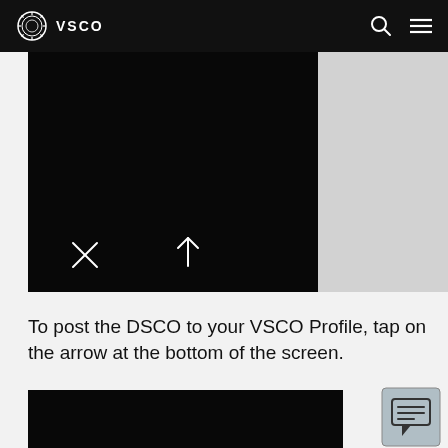VSCO
[Figure (screenshot): Dark/black app screen with white X icon and white upward arrow icon at the bottom]
To post the DSCO to your VSCO Profile, tap on the arrow at the bottom of the screen.
[Figure (screenshot): Dark/black app screen (partial, bottom of page)]
[Figure (illustration): Chat/comment icon in a rounded square button]